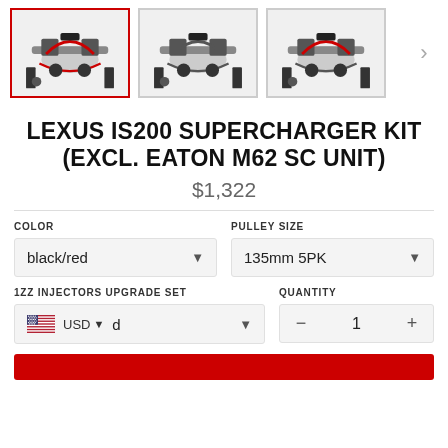[Figure (photo): Three product thumbnail images of a Lexus IS200 supercharger kit shown side by side, with the first one selected (red border). A right navigation arrow is visible on the far right.]
LEXUS IS200 SUPERCHARGER KIT (EXCL. EATON M62 SC UNIT)
$1,322
COLOR
black/red
PULLEY SIZE
135mm 5PK
1ZZ INJECTORS UPGRADE SET
USD  d
QUANTITY
1